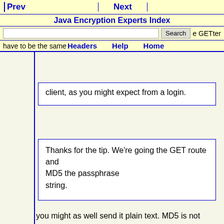Prev  Next  Java Encryption Experts Index  Search  e GETter  Headers  Help  Home
have to be the same
client, as you might expect from a login.
Thanks for the tip. We're going the GET route and MD5 the passphrase
string.
you might as well send it plain text. MD5 is not
encryption, its a hash.
  Someone could simply steel the MD5, and use it to
log in.
--
Daniel Pitts' Tech Blog:
<http://virtualinfinity.net/wordpress/>